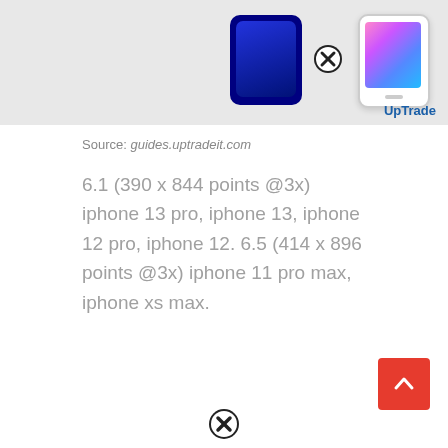[Figure (screenshot): UpTrade website banner showing two iPhones with an X icon between them and the UpTrade logo in the bottom right corner]
Source: guides.uptradeit.com
6.1 (390 x 844 points @3x) iphone 13 pro, iphone 13, iphone 12 pro, iphone 12. 6.5 (414 x 896 points @3x) iphone 11 pro max, iphone xs max.